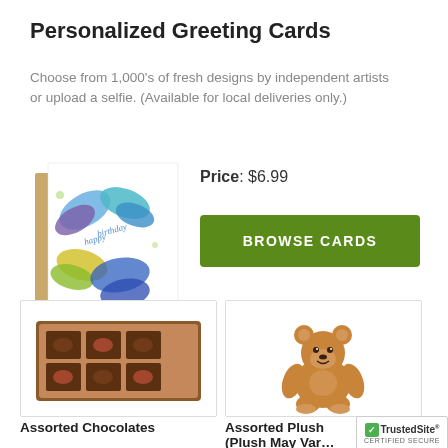Personalized Greeting Cards
Choose from 1,000's of fresh designs by independent artists or upload a selfie. (Available for local deliveries only.)
Price: $6.99
[Figure (illustration): Greeting card showing colorful butterflies with 'Happy Birthday' text, displayed with a kraft brown envelope]
[Figure (other): Green BROWSE CARDS button]
[Figure (photo): Box of assorted chocolates in a brown box with compartments]
Assorted Chocolates
[Figure (photo): Small brown teddy bear plush toy]
Assorted Plush (Plush May Vary)
[Figure (logo): TrustedSite CERTIFIED SECURE badge]